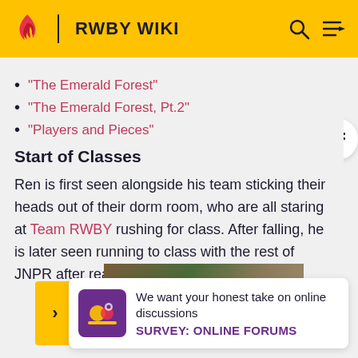RWBY WIKI
"The Emerald Forest"
"The Emerald Forest, Pt.2"
"Players and Pieces"
Start of Classes
Ren is first seen alongside his team sticking their heads out of their dorm room, who are all staring at Team RWBY rushing for class. After falling, he is later seen running to class with the rest of JNPR after realizing that they are late.
[Figure (screenshot): Partial screenshot of an image at the bottom of the wiki page]
We want your honest take on online discussions
SURVEY: ONLINE FORUMS